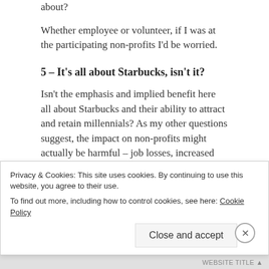about?
Whether employee or volunteer, if I was at the participating non-profits I'd be worried.
5 – It's all about Starbucks, isn't it?
Isn't the emphasis and implied benefit here all about Starbucks and their ability to attract and retain millennials? As my other questions suggest, the impact on non-profits might actually be harmful – job losses, increased costs, volunteer turnover etc..
Remember, the goal by which the pilot's success will
Privacy & Cookies: This site uses cookies. By continuing to use this website, you agree to their use.
To find out more, including how to control cookies, see here: Cookie Policy
Close and accept